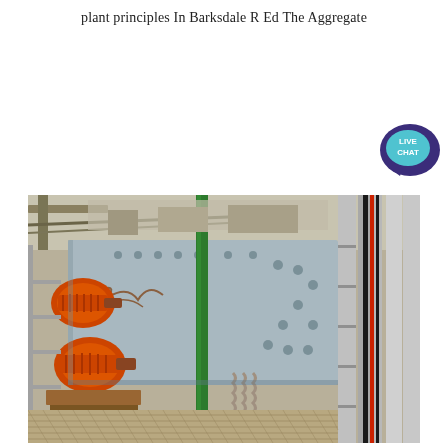plant principles In Barksdale R Ed The Aggregate
[Figure (photo): Industrial aggregate plant equipment: orange electric motors/vibrators mounted on a large pale blue metal screening or vibrating machine, with green vertical pipe, electrical cables and conduits on the right side, metal grating floor, spring mounts, photographed at an angle showing industrial machinery up close.]